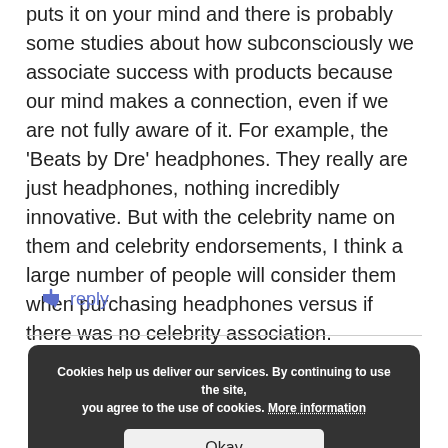puts it on your mind and there is probably some studies about how subconsciously we associate success with products because our mind makes a connection, even if we are not fully aware of it. For example, the 'Beats by Dre' headphones. They really are just headphones, nothing incredibly innovative. But with the celebrity name on them and celebrity endorsements, I think a large number of people will consider them when purchasing headphones versus if there was no celebrity association.
reply
Cookies help us deliver our services. By continuing to use the site, you agree to the use of cookies. More information
Okay
KIM PARR
January 9:16 am